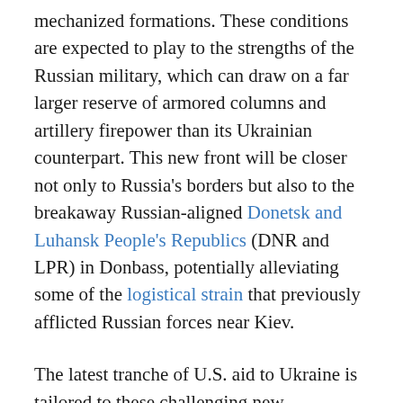mechanized formations. These conditions are expected to play to the strengths of the Russian military, which can draw on a far larger reserve of armored columns and artillery firepower than its Ukrainian counterpart. This new front will be closer not only to Russia's borders but also to the breakaway Russian-aligned Donetsk and Luhansk People's Republics (DNR and LPR) in Donbass, potentially alleviating some of the logistical strain that previously afflicted Russian forces near Kiev.
The latest tranche of U.S. aid to Ukraine is tailored to these challenging new circumstances,